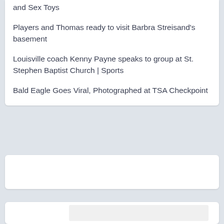and Sex Toys
Players and Thomas ready to visit Barbra Streisand's basement
Louisville coach Kenny Payne speaks to group at St. Stephen Baptist Church | Sports
Bald Eagle Goes Viral, Photographed at TSA Checkpoint